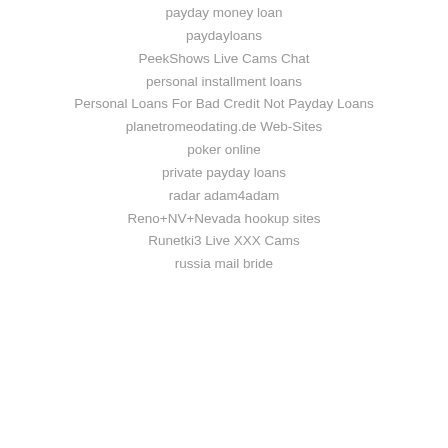payday money loan
paydayloans
PeekShows Live Cams Chat
personal installment loans
Personal Loans For Bad Credit Not Payday Loans
planetromeodating.de Web-Sites
poker online
private payday loans
radar adam4adam
Reno+NV+Nevada hookup sites
Runetki3 Live XXX Cams
russia mail bride